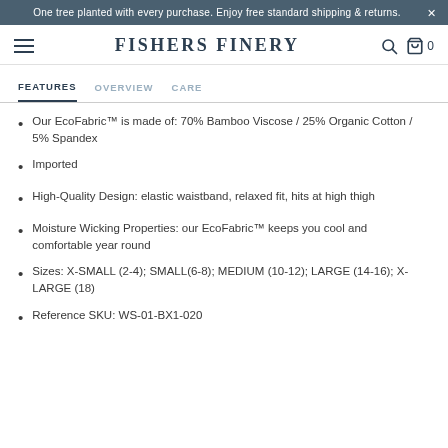One tree planted with every purchase. Enjoy free standard shipping & returns.
FISHERS FINERY
FEATURES   OVERVIEW   CARE
Our EcoFabric™ is made of: 70% Bamboo Viscose / 25% Organic Cotton / 5% Spandex
Imported
High-Quality Design: elastic waistband, relaxed fit, hits at high thigh
Moisture Wicking Properties: our EcoFabric™ keeps you cool and comfortable year round
Sizes: X-SMALL (2-4); SMALL(6-8); MEDIUM (10-12); LARGE (14-16); X-LARGE (18)
Reference SKU: WS-01-BX1-020